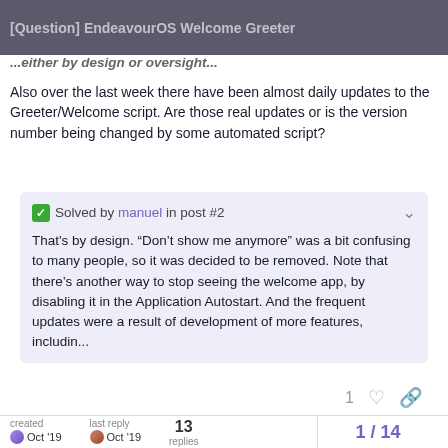[Question] EndeavourOS Welcome Greeter
...either by design or oversight...
Also over the last week there have been almost daily updates to the Greeter/Welcome script. Are those real updates or is the version number being changed by some automated script?
✓ Solved by manuel in post #2
That's by design. “Don’t show me anymore” was a bit confusing to many people, so it was decided to be removed. Note that there’s another way to stop seeing the welcome app, by disabling it in the Application Autostart. And the frequent updates were a result of development of more features, includin...
created Oct '19 | last reply Oct '19 | 13 replies | 1 / 14